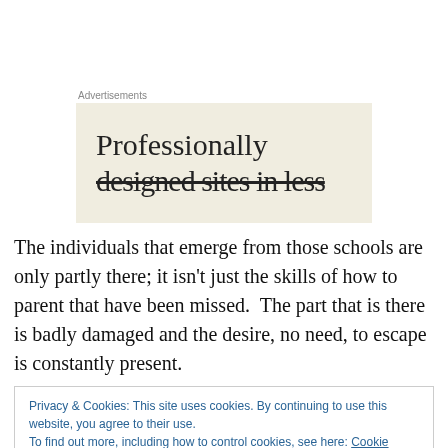[Figure (other): Advertisement banner with beige/cream background showing text 'Professionally designed sites in less...' partially visible]
The individuals that emerge from those schools are only partly there; it isn't just the skills of how to parent that have been missed.  The part that is there is badly damaged and the desire, no need, to escape is constantly present.
Privacy & Cookies: This site uses cookies. By continuing to use this website, you agree to their use.
To find out more, including how to control cookies, see here: Cookie Policy
Close and accept
Alexia does not hesitate to reference it often, is to put a